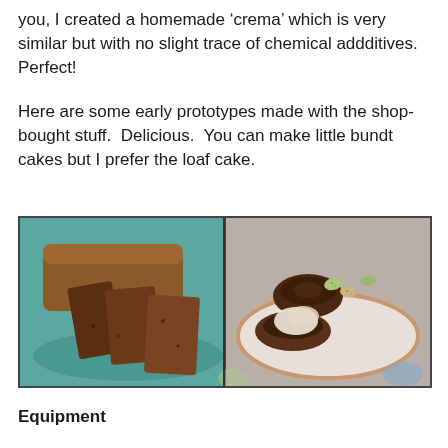you, I created a homemade ‘crema’ which is very similar but with no slight trace of chemical addditives.  Perfect!
Here are some early prototypes made with the shop-bought stuff.  Delicious.  You can make little bundt cakes but I prefer the loaf cake.
[Figure (photo): Two side-by-side food photos: left shows sliced chocolate loaf cake in a teal/turquoise dish; right shows mini bundt cakes on a plate decorated with small speckled eggs and cream]
Equipment